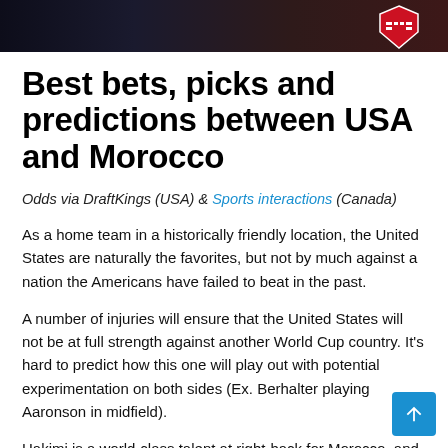[Figure (photo): Dark background hero image with a USA soccer/football shield logo visible on the right side]
Best bets, picks and predictions between USA and Morocco
Odds via DraftKings (USA) & Sports interactions (Canada)
As a home team in a historically friendly location, the United States are naturally the favorites, but not by much against a nation the Americans have failed to beat in the past.
A number of injuries will ensure that the United States will not be at full strength against another World Cup country. It's hard to predict how this one will play out with potential experimentation on both sides (Ex. Berhalter playing Aaronson in midfield).
Hakimi is a world-class talent at right-back for Morocco, and if